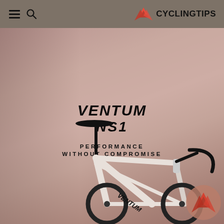CyclingTips
[Figure (photo): Hero image of Ventum NS1 road bike against a mauve/rose-toned background. The bike is white/light colored with black components including saddle, seatpost, handlebars and bar tape. Text overlay reads VENTUM NS1 and PERFORMANCE WITHOUT COMPROMISE. A circular Ventum logo watermark appears in the bottom right.]